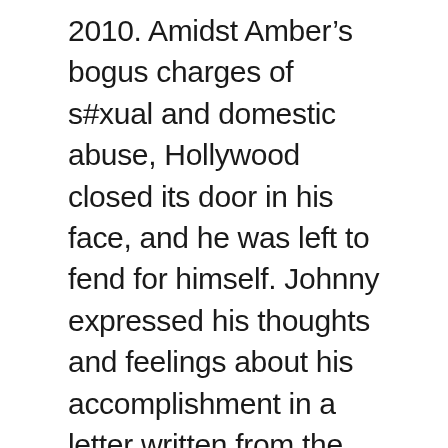2010. Amidst Amber’s bogus charges of s#xual and domestic abuse, Hollywood closed its door in his face, and he was left to fend for himself. Johnny expressed his thoughts and feelings about his accomplishment in a letter written from the depths of his heart. Following the long-awaited verdict that restored him to his life, Johnny has only just commented on Facebook about how he is feeling. He penned the following: “Six years ago, my life, the life of my children, the life of those closest to me, and the life of the people who for many, many years